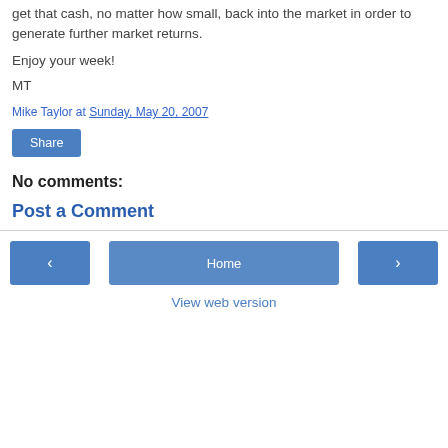get that cash, no matter how small, back into the market in order to generate further market returns.
Enjoy your week!
MT
Mike Taylor at Sunday, May 20, 2007
Share
No comments:
Post a Comment
Home | View web version